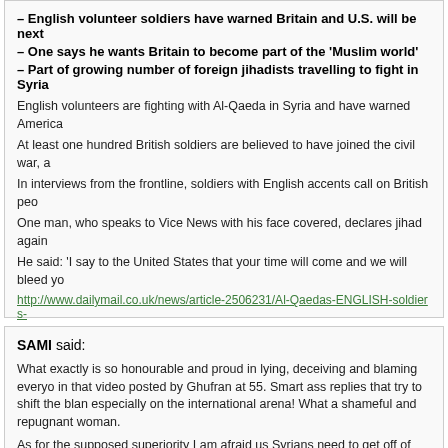– English volunteer soldiers have warned Britain and U.S. will be next
– One says he wants Britain to become part of the 'Muslim world'
– Part of growing number of foreign jihadists travelling to fight in Syria
English volunteers are fighting with Al-Qaeda in Syria and have warned America
At least one hundred British soldiers are believed to have joined the civil war, a
In interviews from the frontline, soldiers with English accents call on British peo
One man, who speaks to Vice News with his face covered, declares jihad again
He said: 'I say to the United States that your time will come and we will bleed yo
http://www.dailymail.co.uk/news/article-2506231/Al-Qaedas-ENGLISH-soldiers-
November 14th, 2013, 11:16 pm
SAMI said:
What exactly is so honourable and proud in lying, deceiving and blaming everyo in that video posted by Ghufran at 55. Smart ass replies that try to shift the blan especially on the international arena! What a shameful and repugnant woman.
As for the supposed superiority I am afraid us Syrians need to get off of our hig 100 most powerful woman of the Arab world you can see where Syria stands in
http://www.arabianbusiness.com/100-most-powerful-arab-women-2013-491497
(Hint out of the top ten, 8 are occupied by those GCC Bedouins and non by Syr clowns. Even Lebanon fairs better than Syria with 12)
November 14th, 2013, 11:19 pm
ZIAD said: